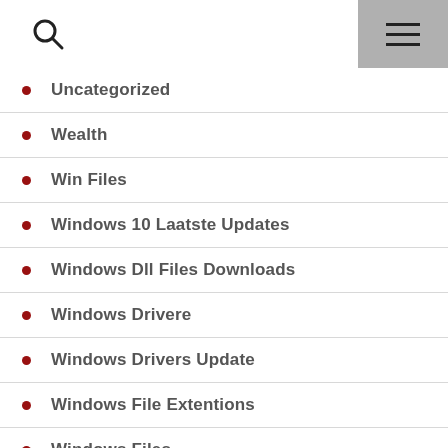search and menu header
Uncategorized
Wealth
Win Files
Windows 10 Laatste Updates
Windows Dll Files Downloads
Windows Drivere
Windows Drivers Update
Windows File Extentions
Windows Files